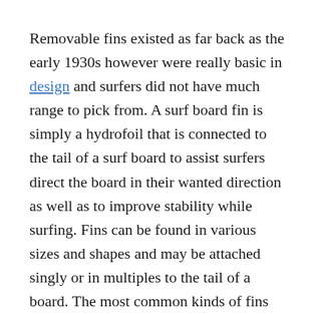Removable fins existed as far back as the early 1930s however were really basic in design and surfers did not have much range to pick from. A surf board fin is simply a hydrofoil that is connected to the tail of a surf board to assist surfers direct the board in their wanted direction as well as to improve stability while surfing. Fins can be found in various sizes and shapes and may be attached singly or in multiples to the tail of a board. The most common kinds of fins makes use of today are the detachable fin systems, which can be unscrewed from the tail of a surf board and rearranged in a various configuration or replaced with other kinds of fins in order to